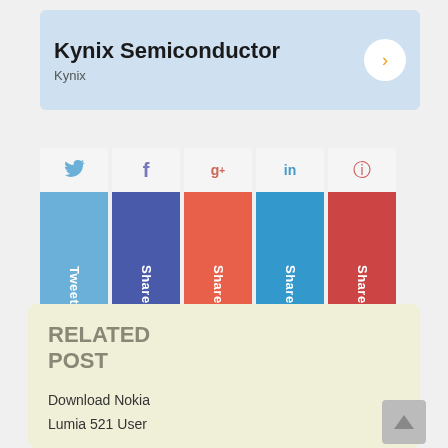[Figure (other): Kynix Semiconductor advertisement banner with light blue background, bold title 'Kynix Semiconductor', subtitle 'Kynix', and a circular arrow button on the right]
[Figure (infographic): Social media share buttons row: Tweet (light blue), Share on Facebook (dark blue), Share on Google+ (red-orange), Share on LinkedIn (blue), Share on Pinterest (red). Each button has an icon on top and vertical label text below.]
RELATED POST
Download Nokia Lumia 521 User